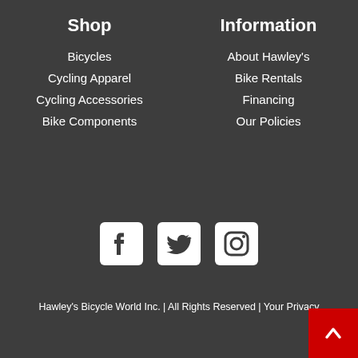Shop
Bicycles
Cycling Apparel
Cycling Accessories
Bike Components
Information
About Hawley's
Bike Rentals
Financing
Our Policies
[Figure (other): Social media icons: Facebook, Twitter, Instagram]
Hawley's Bicycle World Inc. | All Rights Reserved | Your Privacy